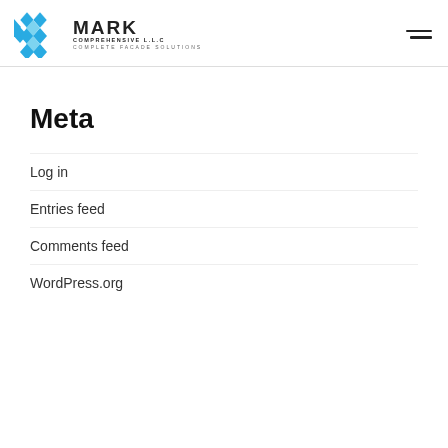[Figure (logo): Mark Comprehensive LLC logo with blue geometric diamond/hex pattern icon and text 'MARK COMPREHENSIVE L.L.C COMPLETE FACADE SOLUTIONS']
Meta
Log in
Entries feed
Comments feed
WordPress.org